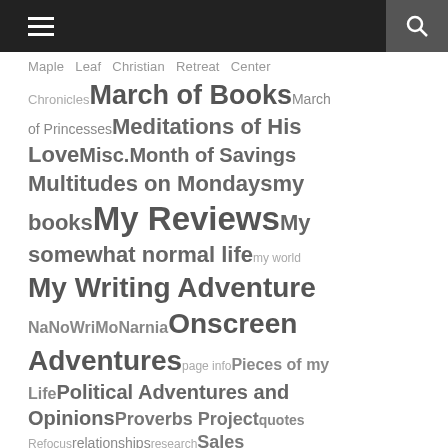Menu / Search
Maple Leaf Christian Retreat Center Chronicles March of Books March of Princesses Meditations of His Love Misc. Month of Savings Multitudes on Mondays my books My Reviews My somewhat normal life my world My Writing Adventure NaNoWriMo Narnia Onscreen Adventures page info Pieces of my Life Political Adventures and Opinions Proverbs Project quotes Refocus relationships research Sales Sarah's Childhood school Scott and Sarah short stories siblings